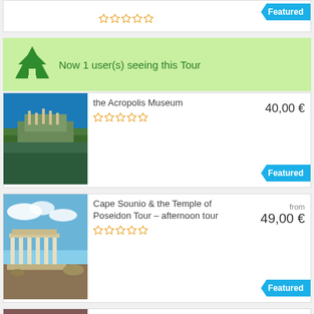[Figure (screenshot): Partial top card with 5 empty stars and Featured badge]
Now 1 user(s) seeing this Tour
the Acropolis Museum | 40,00 € | Featured
Cape Sounio & the Temple of Poseidon Tour – afternoon tour | from 49,00 € | Featured
Cape Sounion & Temple of Poseidon – Sunset Tour | from 57,00 € | Featured